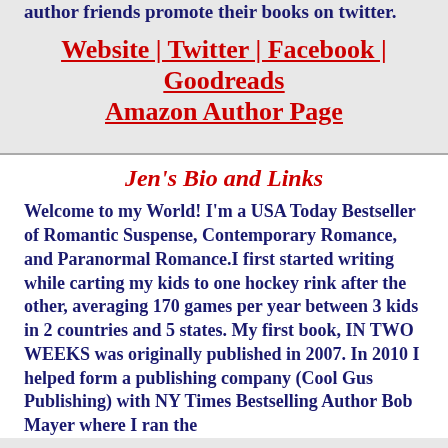author friends promote their books on twitter.
Website | Twitter | Facebook | Goodreads Amazon Author Page
Jen's Bio and Links
Welcome to my World! I'm a USA Today Bestseller of Romantic Suspense, Contemporary Romance, and Paranormal Romance.I first started writing while carting my kids to one hockey rink after the other, averaging 170 games per year between 3 kids in 2 countries and 5 states. My first book, IN TWO WEEKS was originally published in 2007. In 2010 I helped form a publishing company (Cool Gus Publishing) with NY Times Bestselling Author Bob Mayer where I ran the